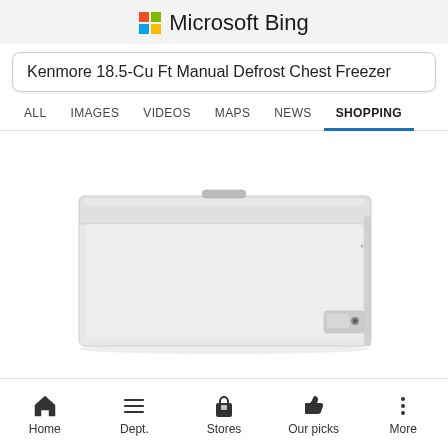Microsoft Bing
Kenmore 18.5-Cu Ft Manual Defrost Chest Freezer
ALL  IMAGES  VIDEOS  MAPS  NEWS  SHOPPING
[Figure (photo): White Kenmore 18.5-Cu Ft Manual Defrost Chest Freezer product photo on white background, showing the top and front of the freezer, with a small control panel on the lower right side.]
Home  Dept.  Stores  Our picks  More